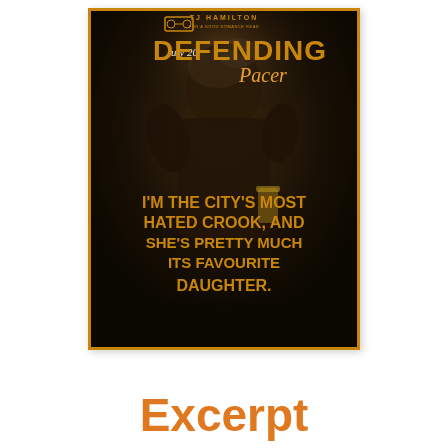[Figure (illustration): Book cover for 'Defending Pacer' by TJ Hamilton. Dark moody photo of a man holding a drink. Gold/black border. Text overlay reads: I'M THE CITY'S MOST HATED CROOK, AND SHE'S PRETTY MUCH ITS FAVOURITE DAUGHTER. Author name TJ Hamilton at top with glasses logo. 'July 20' handwritten annotation. Series title 'Defending Pacer' in large stylized font.]
Excerpt